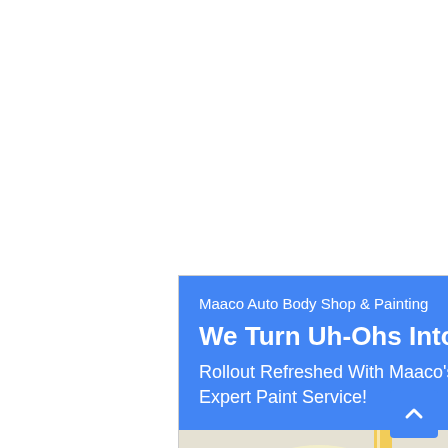[Figure (screenshot): Advertisement for Maaco Auto Body Shop & Painting with a blue header section containing the headline 'We Turn Uh-Ohs Into Oh Yeahs' and body text 'Rollout Refreshed With Maaco's Expert Paint Service!', followed by a Google Maps view showing a location pin. A blue scroll-to-top button is visible in the bottom right corner.]